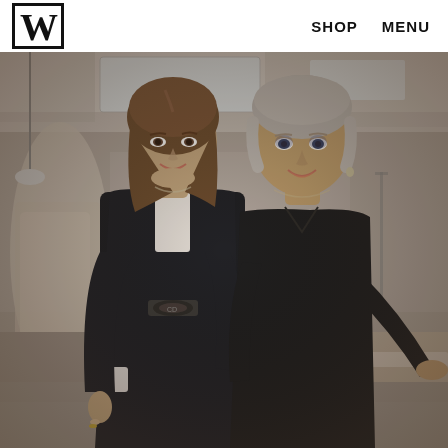W  SHOP  MENU
[Figure (photo): Two women standing together and smiling in what appears to be a fashion atelier or studio. The woman on the left has long brown hair and wears a navy/black double-breasted coat with a white blouse underneath and a Dior logo belt buckle. The woman on the right has short white/grey hair and wears an all-black outfit. Background shows mannequins with garments, ceiling skylights, and studio furniture.]